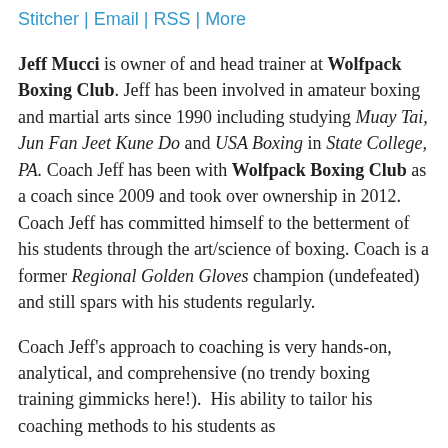Stitcher | Email | RSS | More
Jeff Mucci is owner of and head trainer at Wolfpack Boxing Club. Jeff has been involved in amateur boxing and martial arts since 1990 including studying Muay Tai, Jun Fan Jeet Kune Do and USA Boxing in State College, PA. Coach Jeff has been with Wolfpack Boxing Club as a coach since 2009 and took over ownership in 2012. Coach Jeff has committed himself to the betterment of his students through the art/science of boxing. Coach is a former Regional Golden Gloves champion (undefeated) and still spars with his students regularly.
Coach Jeff's approach to coaching is very hands-on, analytical, and comprehensive (no trendy boxing training gimmicks here!). His ability to tailor his coaching methods to his students as